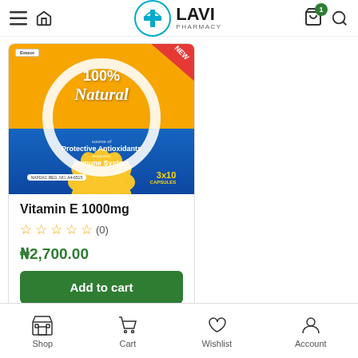LAVI PHARMACY — navigation header with cart (1 item)
[Figure (photo): Product box of Vitamin E 1000mg capsules — orange/blue packaging showing 100% Natural, Protective Antioxidants, Supports Immune System, 3x10 Capsules, NEW ribbon]
Vitamin E 1000mg
☆☆☆☆☆ (0)
₦2,700.00
Add to cart
Shop  Cart  Wishlist  Account